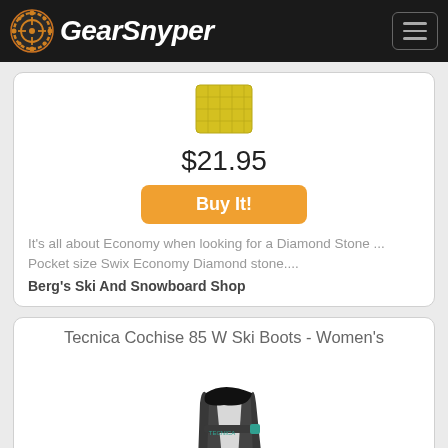GearSnyper
[Figure (photo): Small product thumbnail of a diamond sharpening stone]
$21.95
Buy It!
It's all about Economy when looking for a Diamond Stone ... Pocket size Swix Economy Diamond stone....
Berg's Ski And Snowboard Shop
Tecnica Cochise 85 W Ski Boots - Women's
[Figure (photo): Tecnica Cochise 85 W women's ski boot in dark grey/black with teal accents]
$319.97
Buy It!
Coming from the Tecnica Free-mountain Series, the